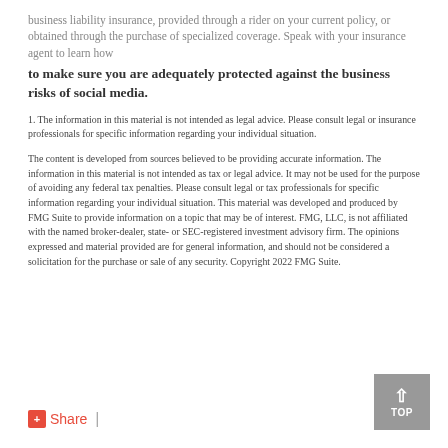business liability insurance, provided through a rider on your current policy, or obtained through the purchase of specialized coverage. Speak with your insurance agent to learn how to make sure you are adequately protected against the business risks of social media.
1. The information in this material is not intended as legal advice. Please consult legal or insurance professionals for specific information regarding your individual situation.
The content is developed from sources believed to be providing accurate information. The information in this material is not intended as tax or legal advice. It may not be used for the purpose of avoiding any federal tax penalties. Please consult legal or tax professionals for specific information regarding your individual situation. This material was developed and produced by FMG Suite to provide information on a topic that may be of interest. FMG, LLC, is not affiliated with the named broker-dealer, state- or SEC-registered investment advisory firm. The opinions expressed and material provided are for general information, and should not be considered a solicitation for the purchase or sale of any security. Copyright 2022 FMG Suite.
+Share |